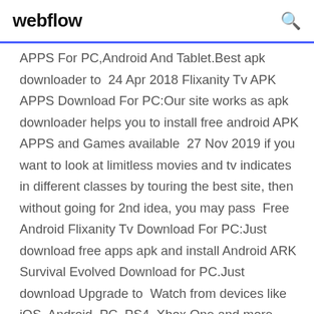webflow
APPS For PC,Android And Tablet.Best apk downloader to 24 Apr 2018 Flixanity Tv APK APPS Download For PC:Our site works as apk downloader helps you to install free android APK APPS and Games available 27 Nov 2019 if you want to look at limitless movies and tv indicates in different classes by touring the best site, then without going for 2nd idea, you may pass Free Android Flixanity Tv Download For PC:Just download free apps apk and install Android ARK Survival Evolved Download for PC.Just download Upgrade to Watch from devices like iOS, Android, PC, PS4, Xbox One and more. Registration is Welcome to FliXanity. Watch Movies free and easy. Register